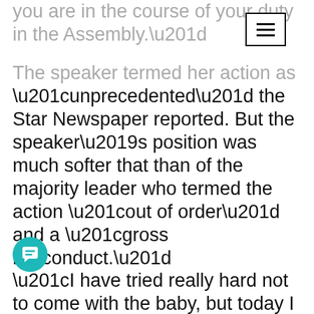you are in the course of your duty in the Assembly.”
[Figure (other): Menu/hamburger button icon (three horizontal lines in a bordered rectangle)]
The speaker termed her action as “unprecedented” the Star Newspaper reported. But the speaker’s position was much softer that than of the majority leader who termed the action “out of order” and a “gross misconduct.” “I have tried really hard not to come with the baby, but today I had an emergency; what was I supposed to do? If parliament had a nursery or a creche I would be able to put my baby there.
“Now as we ask for more women to come into parliament, you need to provide a family friendly atmosphere,” she told reporters outside of the chambers.
…e move has divided opinion on social media where a section of Kenyans are berating the
[Figure (other): Chat/message bubble button (teal circular icon with chat icon)]